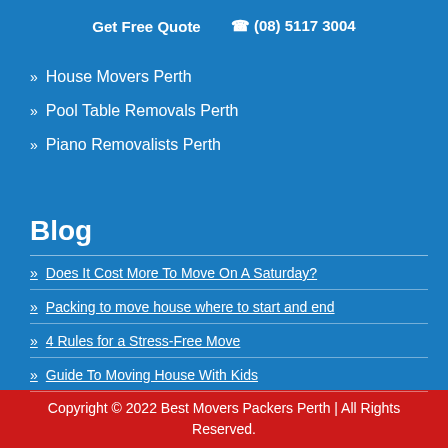Get Free Quote  ☎ (08) 5117 3004
» House Movers Perth
» Pool Table Removals Perth
» Piano Removalists Perth
Blog
» Does It Cost More To Move On A Saturday?
» Packing to move house where to start and end
» 4 Rules for a Stress-Free Move
» Guide To Moving House With Kids
Copyright © 2022 Best Movers Packers Perth | All Rights Reserved.